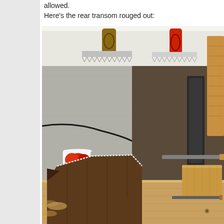allowed.
Here's the rear transom rouged out:
[Figure (photo): Workshop photo showing a wooden transom piece roughed out on a workbench, with hand saws hanging on the wall in the background and a red-and-white Marimekko floral coffee mug on the bench.]